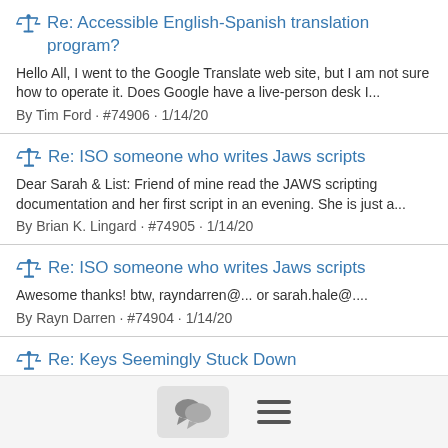Re: Accessible English-Spanish translation program?
Hello All, I went to the Google Translate web site, but I am not sure how to operate it. Does Google have a live-person desk I...
By Tim Ford · #74906 · 1/14/20
Re: ISO someone who writes Jaws scripts
Dear Sarah & List: Friend of mine read the JAWS scripting documentation and her first script in an evening. She is just a...
By Brian K. Lingard · #74905 · 1/14/20
Re: ISO someone who writes Jaws scripts
Awesome thanks! btw, rayndarren@... or sarah.hale@....
By Rayn Darren · #74904 · 1/14/20
Re: Keys Seemingly Stuck Down
the next thing is to press both keys i.e., ctrl or alt keys several times at the same time rapidly and I find that clears the problem...
By ...
[Figure (other): Bottom navigation bar with chat bubble icon button and hamburger menu icon]